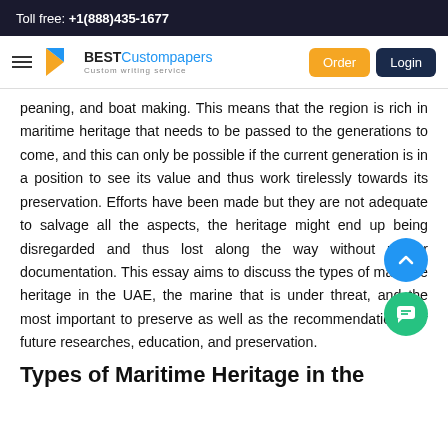Toll free: +1(888)435-1677
[Figure (logo): BestCustompapers logo with navigation bar including Order and Login buttons]
peaning, and boat making. This means that the region is rich in maritime heritage that needs to be passed to the generations to come, and this can only be possible if the current generation is in a position to see its value and thus work tirelessly towards its preservation. Efforts have been made but they are not adequate to salvage all the aspects, the heritage might end up being disregarded and thus lost along the way without proper documentation. This essay aims to discuss the types of maritime heritage in the UAE, the marine that is under threat, and the most important to preserve as well as the recommendations for future researches, education, and preservation.
Types of Maritime Heritage in the